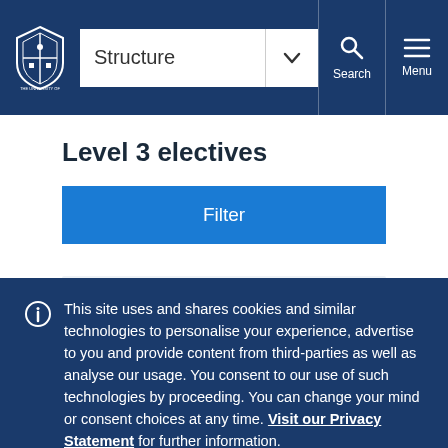Structure — University of Melbourne header navigation with Search and Menu
Level 3 electives
Filter
Code
This site uses and shares cookies and similar technologies to personalise your experience, advertise to you and provide content from third-parties as well as analyse our usage. You consent to our use of such technologies by proceeding. You can change your mind or consent choices at any time. Visit our Privacy Statement for further information.
Accept cookies
Cookie Preferences